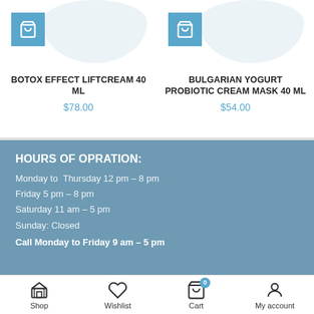BOTOX EFFECT LIFTCREAM 40 mL
$78.00
BULGARIAN YOGURT PROBIOTIC CREAM MASK 40 mL
$54.00
HOURS OF OPRATION:
Monday to  Thursday 12 pm – 8 pm
Friday 5 pm – 8 pm
Saturday 11 am – 5 pm
Sunday: Closed
Call Monday to Friday 9 am – 5 pm
Shop  Wishlist  Cart  My account